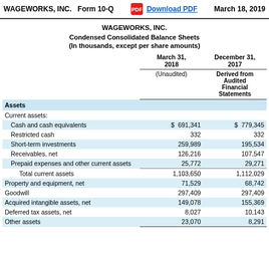WAGEWORKS, INC.   Form 10-Q   Download PDF   March 18, 2019
WAGEWORKS, INC.
Condensed Consolidated Balance Sheets
(In thousands, except per share amounts)
|  | March 31, 2018 (Unaudited) | December 31, 2017 Derived from Audited Financial Statements |
| --- | --- | --- |
| Assets |  |  |
| Current assets: |  |  |
| Cash and cash equivalents | $ 691,341 | $ 779,345 |
| Restricted cash | 332 | 332 |
| Short-term investments | 259,989 | 195,534 |
| Receivables, net | 126,216 | 107,547 |
| Prepaid expenses and other current assets | 25,772 | 29,271 |
| Total current assets | 1,103,650 | 1,112,029 |
| Property and equipment, net | 71,529 | 68,742 |
| Goodwill | 297,409 | 297,409 |
| Acquired intangible assets, net | 149,078 | 155,369 |
| Deferred tax assets, net | 8,027 | 10,143 |
| Other assets | 23,070 | 8,291 |